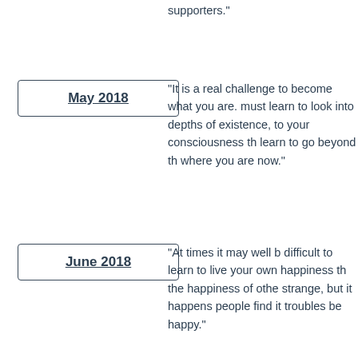supporters."
May 2018
"It is a real challenge to become what you are. must learn to look into depths of existence, to your consciousness th learn to go beyond th where you are now."
June 2018
"At times it may well b difficult to learn to live your own happiness th the happiness of othe strange, but it happens people find it troubles be happy."